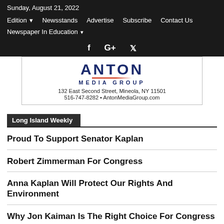Sunday, August 21, 2022
Edition  Newsstands  Advertise  Subscribe  Contact Us  Newspaper In Education
[Figure (logo): Anton Media Group logo with address: 132 East Second Street, Mineola, NY 11501, 516-747-8282, AntonMediaGroup.com]
Long Island Weekly
Proud To Support Senator Kaplan
Robert Zimmerman For Congress
Anna Kaplan Will Protect Our Rights And Environment
Why Jon Kaiman Is The Right Choice For Congress